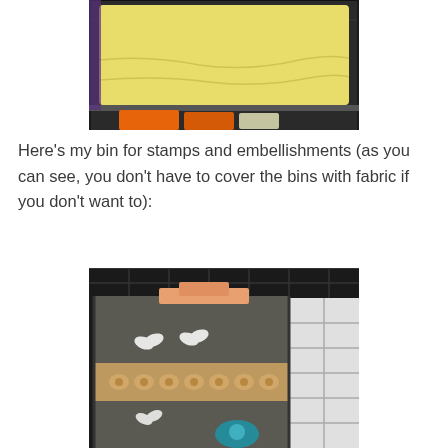[Figure (photo): A yellow fabric-covered bin on a wire rack shelf, with orange and other items visible on the shelf below.]
Here's my bin for stamps and embellishments (as you can see, you don't have to cover the bins with fabric if you don't want to):
[Figure (photo): A gray fabric-covered bin decorated with lace trim and white butterfly embellishments, sitting in a wire rack. Orange/peach items visible at top, a teal item at the bottom right.]